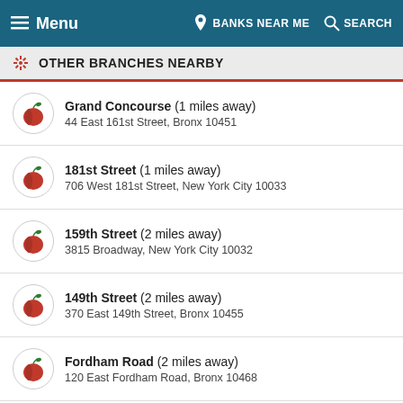Menu  BANKS NEAR ME  SEARCH
OTHER BRANCHES NEARBY
Grand Concourse  (1 miles away)
44 East 161st Street, Bronx 10451
181st Street  (1 miles away)
706 West 181st Street, New York City 10033
159th Street  (2 miles away)
3815 Broadway, New York City 10032
149th Street  (2 miles away)
370 East 149th Street, Bronx 10455
Fordham Road  (2 miles away)
120 East Fordham Road, Bronx 10468
207th Street  (2 miles away)
4948 Broadway, New York City 10040
125th Street  (3 miles away)
169 East 125th Street, New York City 10035